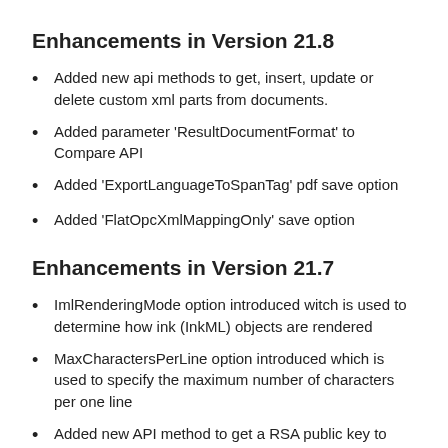Enhancements in Version 21.8
Added new api methods to get, insert, update or delete custom xml parts from documents.
Added parameter 'ResultDocumentFormat' to Compare API
Added 'ExportLanguageToSpanTag' pdf save option
Added 'FlatOpcXmlMappingOnly' save option
Enhancements in Version 21.7
ImlRenderingMode option introduced witch is used to determine how ink (InkML) objects are rendered
MaxCharactersPerLine option introduced which is used to specify the maximum number of characters per one line
Added new API method to get a RSA public key to encrypt document passwords
Added encryptedPassword common query option to pass an